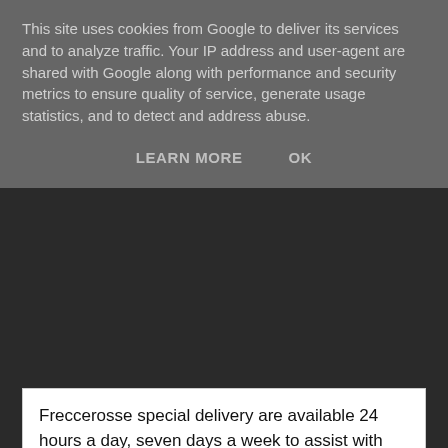This site uses cookies from Google to deliver its services and to analyze traffic. Your IP address and user-agent are shared with Google along with performance and security metrics to ensure quality of service, generate usage statistics, and to detect and address abuse.
LEARN MORE   OK
Freccerosse special delivery are available 24 hours a day, seven days a week to assist with your urgent and same-day delivery shipments. For more information, please contact us via e-mail at commerciale@freccerosse.eu Call +39 0516321938
Freccerosse special delivery
Phone:   +39 0516321938
E-mail: commerciale@freccerosse.eu